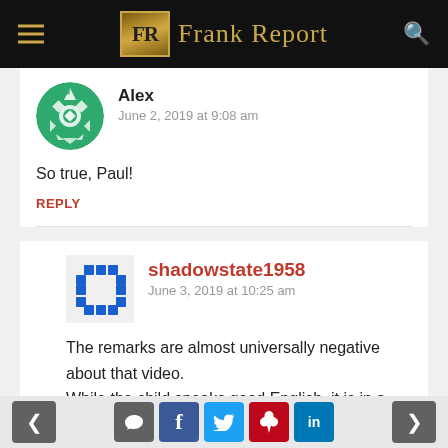Frank Report
Alex
June 2, 2019 at 9:08 am
So true, Paul!
REPLY
shadowstate1958
June 3, 2019 at 10:25 am
The remarks are almost universally negative about that video.
While the child speaks good English, it is in a monotone voice as if he were thoroughly indoctrinated in Raniere's BS.
< [comment] [f] [t] [p] [in] >